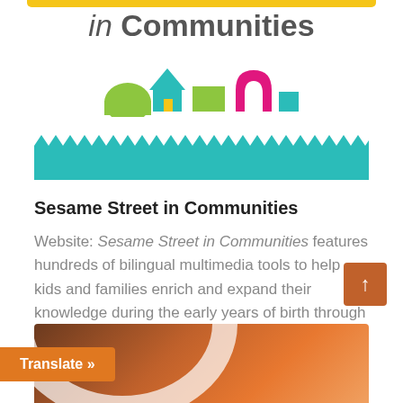in Communities
[Figure (illustration): Colorful cartoon building/house icons row: green semicircle, teal house with yellow door, green rectangle, magenta arch with white detail, teal small square]
[Figure (illustration): Teal decorative zigzag banner/bar]
Sesame Street in Communities
Website: Sesame Street in Communities features hundreds of bilingual multimedia tools to help kids and families enrich and expand their knowledge during the early years of birth through six, a critical window for brain development.
[Figure (photo): Partial circular orange/brown graphic at bottom of page]
Translate »